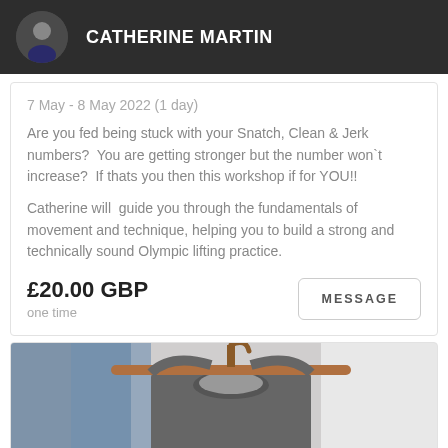CATHERINE MARTIN
7 May - 8 May 2022 (1 day)
Are you fed being stuck with your Snatch, Clean & Jerk numbers?  You are getting stronger but the number won`t increase?  If thats you then this workshop if for YOU!!
Catherine will  guide you through the fundamentals of movement and technique, helping you to build a strong and technically sound Olympic lifting practice.
£20.00 GBP
one time
[Figure (photo): Photo of clothing on hangers, showing a grey t-shirt on a wooden hanger with denim jackets in the background]